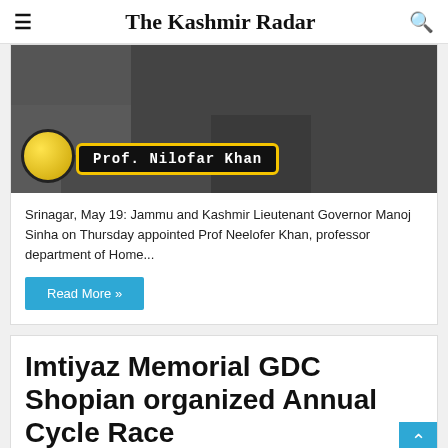The Kashmir Radar
[Figure (photo): Photo of Prof. Nilofar Khan with name badge overlay and gold circle graphic element]
Srinagar, May 19: Jammu and Kashmir Lieutenant Governor Manoj Sinha on Thursday appointed Prof Neelofer Khan, professor department of Home...
Read More »
Imtiyaz Memorial GDC Shopian organized Annual Cycle Race